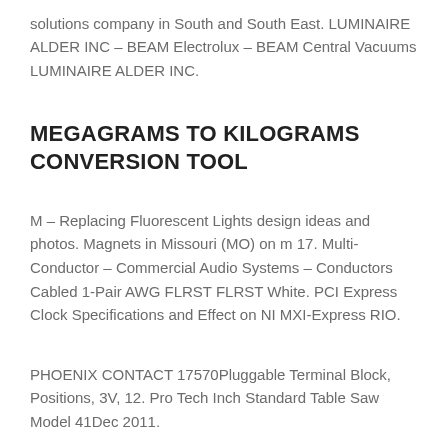solutions company in South and South East. LUMINAIRE ALDER INC – BEAM Electrolux – BEAM Central Vacuums LUMINAIRE ALDER INC.
MEGAGRAMS TO KILOGRAMS CONVERSION TOOL
M – Replacing Fluorescent Lights design ideas and photos. Magnets in Missouri (MO) on m 17. Multi-Conductor – Commercial Audio Systems – Conductors Cabled 1-Pair AWG FLRST FLRST White. PCI Express Clock Specifications and Effect on NI MXI-Express RIO.
PHOENIX CONTACT 17570Pluggable Terminal Block, Positions, 3V, 12. Pro Tech Inch Standard Table Saw Model 41Dec 2011.